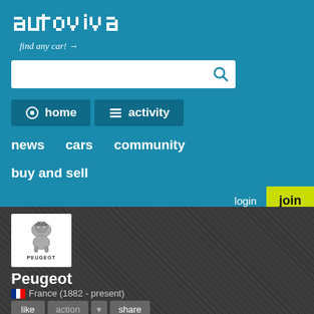[Figure (logo): Autoviva website logo in dot-matrix pixel style text reading 'autoviva' with tagline 'find any car! →' and search box below]
home
activity
news   cars   community
buy and sell
login
join
[Figure (logo): Peugeot logo: white box with lion emblem and PEUGEOT text below]
Peugeot
France (1882 - present)
like   action   share